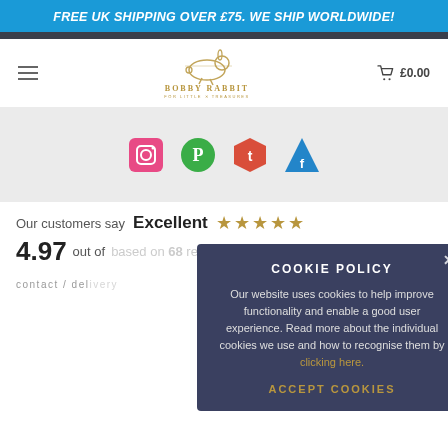FREE UK SHIPPING OVER £75. WE SHIP WORLDWIDE!
[Figure (logo): Bobby Rabbit logo with rabbit illustration and text 'BOBBY RABBIT FOR LITTLE X TREASURES']
[Figure (infographic): Social media icons: Instagram (pink square), Pinterest (green circle), Twitter (red hexagon), Facebook (blue triangle)]
Our customers say Excellent ★★★★★ 4.97 out of 5 based on 68 reviews REVIEWS
contact / delivery
COOKIE POLICY
Our website uses cookies to help improve functionality and enable a good user experience. Read more about the individual cookies we use and how to recognise them by clicking here.
ACCEPT COOKIES